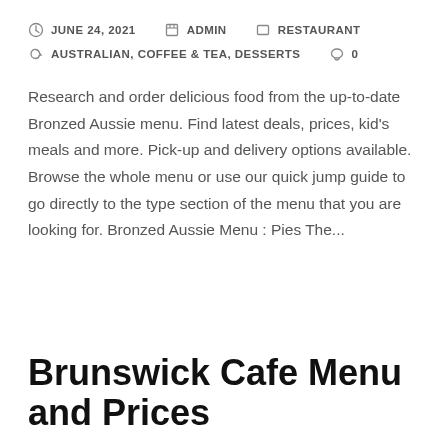JUNE 24, 2021   ADMIN   RESTAURANT   AUSTRALIAN, COFFEE & TEA, DESSERTS   0
Research and order delicious food from the up-to-date Bronzed Aussie menu. Find latest deals, prices, kid's meals and more. Pick-up and delivery options available. Browse the whole menu or use our quick jump guide to go directly to the type section of the menu that you are looking for. Bronzed Aussie Menu : Pies The...
Brunswick Cafe Menu and Prices